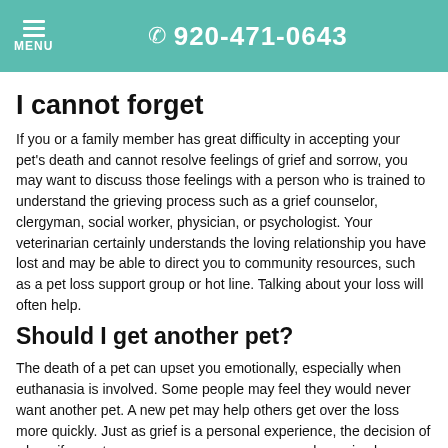☰ MENU  📞 920-471-0643
I cannot forget
If you or a family member has great difficulty in accepting your pet's death and cannot resolve feelings of grief and sorrow, you may want to discuss those feelings with a person who is trained to understand the grieving process such as a grief counselor, clergyman, social worker, physician, or psychologist. Your veterinarian certainly understands the loving relationship you have lost and may be able to direct you to community resources, such as a pet loss support group or hot line. Talking about your loss will often help.
Should I get another pet?
The death of a pet can upset you emotionally, especially when euthanasia is involved. Some people may feel they would never want another pet. A new pet may help others get over the loss more quickly. Just as grief is a personal experience, the decision of when, if ever, to bring a new pet into your home is also a personal one. If a family member expresses difficulty